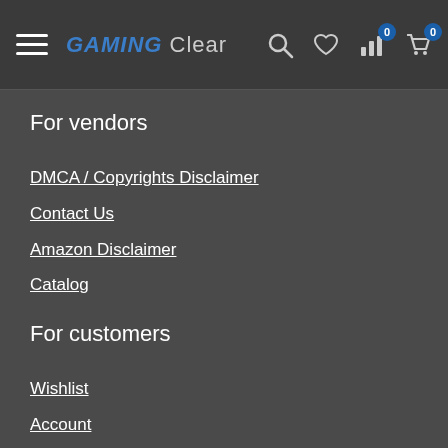GAMING Clear — navigation header with hamburger menu, search, wishlist, stats, and cart icons
For vendors
DMCA / Copyrights Disclaimer
Contact Us
Amazon Disclaimer
Catalog
For customers
Wishlist
Account
Privacy Policy
Shop